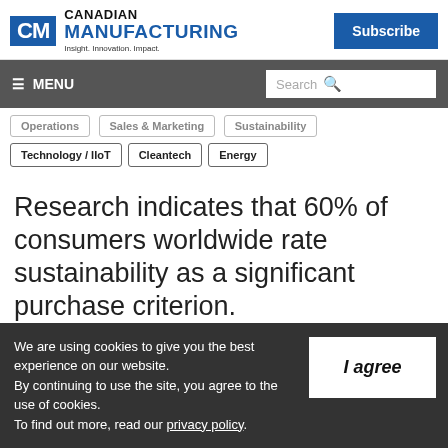Canadian Manufacturing | Insight. Innovation. Impact.
Operations
Sales & Marketing
Sustainability
Technology / IIoT
Cleantech
Energy
Research indicates that 60% of consumers worldwide rate sustainability as a significant purchase criterion.
We are using cookies to give you the best experience on our website. By continuing to use the site, you agree to the use of cookies. To find out more, read our privacy policy.